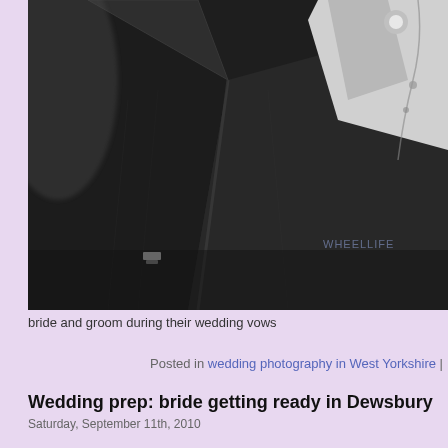[Figure (photo): Black and white close-up photograph of a groom in a dark suit jacket with white shirt and tie, during wedding vows. A watermark reading 'WHEELLIFE' or similar is visible in the lower right area of the image.]
bride and groom during their wedding vows
Posted in wedding photography in West Yorkshire |
Wedding prep: bride getting ready in Dewsbury
Saturday, September 11th, 2010